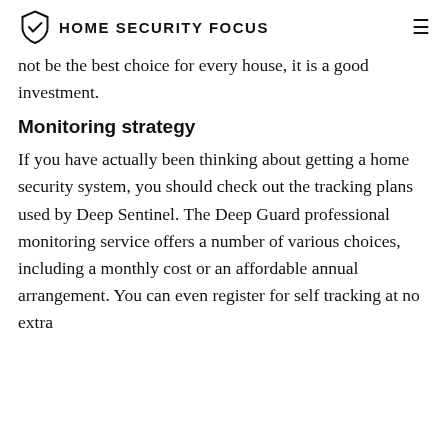HOME SECURITY FOCUS
not be the best choice for every house, it is a good investment.
Monitoring strategy
If you have actually been thinking about getting a home security system, you should check out the tracking plans used by Deep Sentinel. The Deep Guard professional monitoring service offers a number of various choices, including a monthly cost or an affordable annual arrangement. You can even register for self tracking at no extra